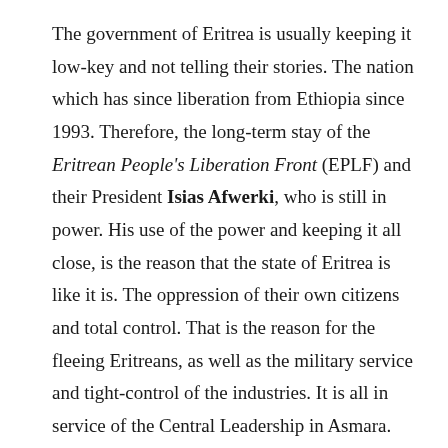The government of Eritrea is usually keeping it low-key and not telling their stories. The nation which has since liberation from Ethiopia since 1993. Therefore, the long-term stay of the Eritrean People's Liberation Front (EPLF) and their President Isias Afwerki, who is still in power. His use of the power and keeping it all close, is the reason that the state of Eritrea is like it is. The oppression of their own citizens and total control. That is the reason for the fleeing Eritreans, as well as the military service and tight-control of the industries. It is all in service of the Central Leadership in Asmara. Which doesn't concern the citizens, they are being used by the EPLF and their needs. Therefore, every time a United Nations report comes out, it reveals new aspects and shows by the admission of the diaspora who are telling the stories that needs to be told.